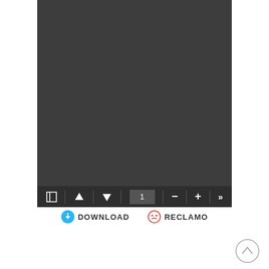[Figure (screenshot): PDF viewer interface showing a dark gray document viewing area with a toolbar at the bottom containing navigation icons (panel toggle, up arrow, down arrow), a page number input field showing '1', zoom minus and plus buttons, and a forward navigation button. Below the viewer are DOWNLOAD and RECLAMO buttons, and a scroll-to-top arrow button in the bottom right.]